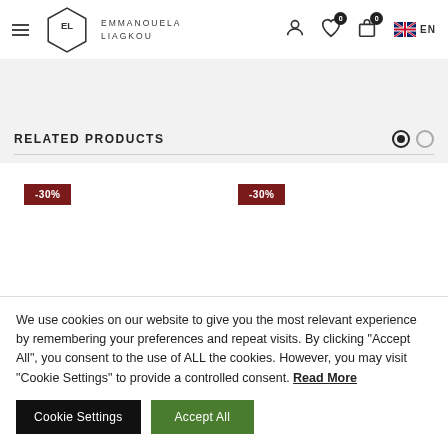[Figure (logo): Emmanouela Liagkou brand logo with hexagonal icon and brand name]
RELATED PRODUCTS
[Figure (other): Two product cards each with -30% discount badge on white background]
We use cookies on our website to give you the most relevant experience by remembering your preferences and repeat visits. By clicking "Accept All", you consent to the use of ALL the cookies. However, you may visit "Cookie Settings" to provide a controlled consent. Read More
Cookie Settings
Accept All